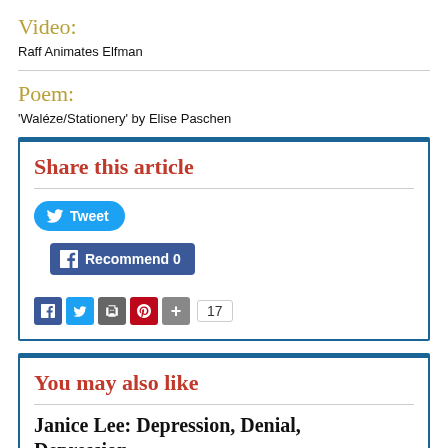Video:
Raff Animates Elfman
Poem:
'Waléze/Stationery' by Elise Paschen
Share this article
[Figure (screenshot): Share buttons: Tweet (Twitter), Recommend 0 (Facebook), and social icon row with Facebook, Twitter, print, Pinterest, plus icons and count badge showing 17]
You may also like
Janice Lee: Depression, Denial, Depression